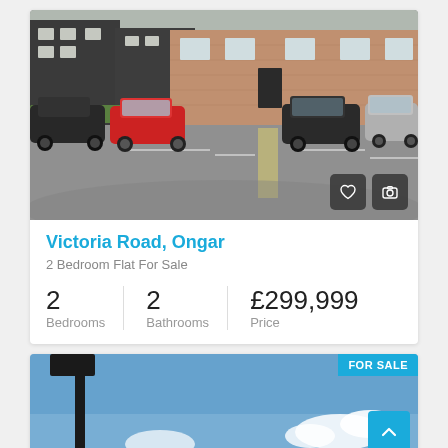[Figure (photo): Exterior photo of a brick terraced house with parked cars in front, including a red car and dark cars. Grey asphalt driveway/parking area visible.]
Victoria Road, Ongar
2 Bedroom Flat For Sale
2 Bedrooms | 2 Bathrooms | £299,999 Price
[Figure (photo): Partial photo showing blue sky with clouds and a dark lamppost on the left side. FOR SALE badge visible in top right corner.]